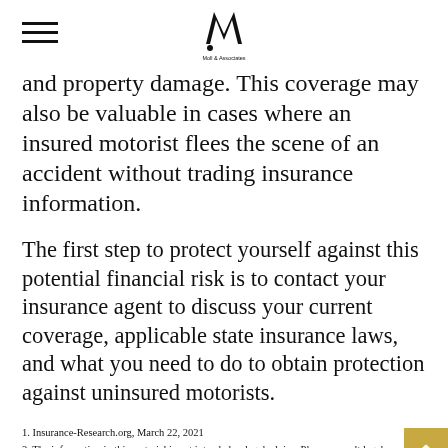Moll & Associates logo and hamburger menu
and property damage. This coverage may also be valuable in cases where an insured motorist flees the scene of an accident without trading insurance information.
The first step to protect yourself against this potential financial risk is to contact your insurance agent to discuss your current coverage, applicable state insurance laws, and what you need to do to obtain protection against uninsured motorists.
1. Insurance-Research.org, March 22, 2021
2. The information in this material is not intended as legal advice. Please consult legal or insurance professionals for specific information regarding your individual situation.
The content is developed from sources believed to be providing accurate